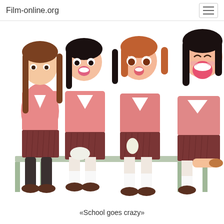Film-online.org
[Figure (illustration): Anime illustration of four schoolgirls in pink and dark red uniforms sitting on a bench, appearing cheerful and animated. They wear sailor-style pink tops with white collars, dark red pleated skirts, and brown shoes. Some wear white knee socks, one wears dark stockings.]
«School goes crazy»